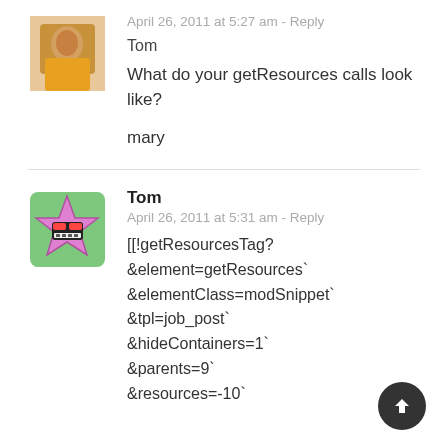[Figure (photo): Avatar photo of a person in a yellow shirt]
April 26, 2011 at 5:27 am - Reply
Tom
What do your getResources calls look like?
mary
[Figure (illustration): Cartoon avatar of a star-shaped character with sunglasses and teeth, pink on green background]
Tom
April 26, 2011 at 5:31 am - Reply
[[!getResourcesTag?
&element=getResources`
&elementClass=modSnippet`
&tpl=job_post`
&hideContainers=1`
&parents=9`
&resources=-10`